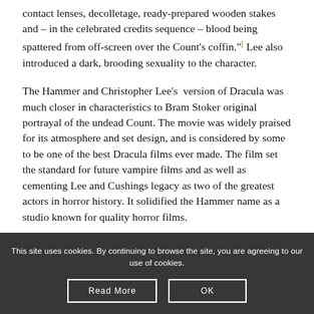contact lenses, decolletage, ready-prepared wooden stakes and – in the celebrated credits sequence – blood being spattered from off-screen over the Count's coffin." Lee also introduced a dark, brooding sexuality to the character.
The Hammer and Christopher Lee's version of Dracula was much closer in characteristics to Bram Stoker original portrayal of the undead Count. The movie was widely praised for its atmosphere and set design, and is considered by some to be one of the best Dracula films ever made. The film set the standard for future vampire films and as well as cementing Lee and Cushings legacy as two of the greatest actors in horror history. It solidified the Hammer name as a studio known for quality horror films.
This site uses cookies. By continuing to browse the site, you are agreeing to our use of cookies.